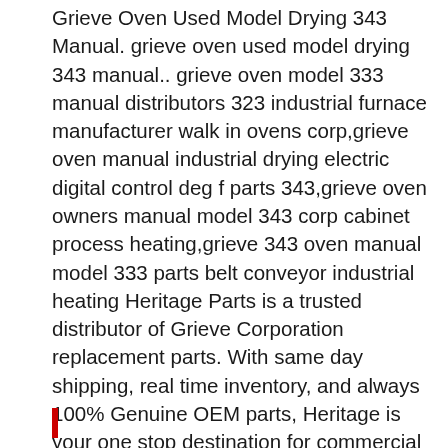Grieve Oven Used Model Drying 343 Manual. grieve oven used model drying 343 manual.. grieve oven model 333 manual distributors 323 industrial furnace manufacturer walk in ovens corp,grieve oven manual industrial drying electric digital control deg f parts 343,grieve oven owners manual model 343 corp cabinet process heating,grieve 343 oven manual model 333 parts belt conveyor industrial heating Heritage Parts is a trusted distributor of Grieve Corporation replacement parts. With same day shipping, real time inventory, and always 100% Genuine OEM parts, Heritage is your one stop destination for commercial kitchen replacement parts. Right Part, Right Time, Every Time!